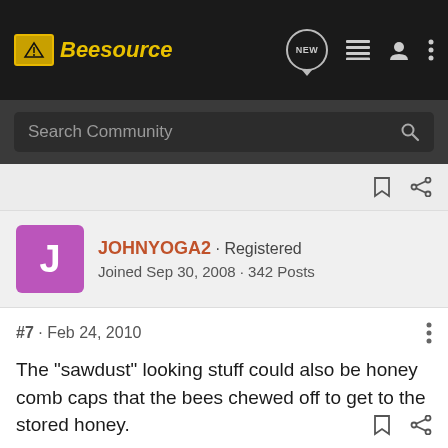Beesource
Search Community
JOHNYOGA2 · Registered
Joined Sep 30, 2008 · 342 Posts
#7 · Feb 24, 2010
The "sawdust" looking stuff could also be honey comb caps that the bees chewed off to get to the stored honey.